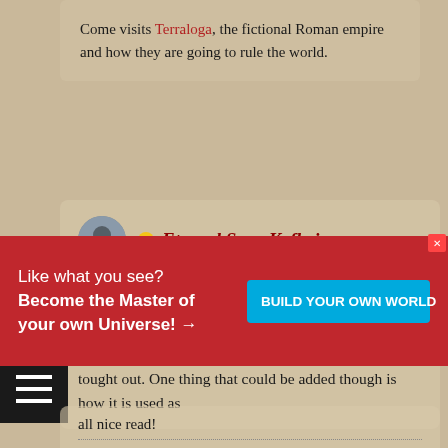Come visits Terraloga, the fictional Roman empire and how they are going to rule the world.
Eternal Sage Kefkejaco
5 Apr, 2021 12:46
Nice read. I like the drawings you provided and the general layout of the article is nice as well. Each of the sections were short but to the point and seemed well tought out. One thing that could be added though is how it is used as
Like what you see? Become the Master of your own Universe! →
BUILD YOUR OWN WORLD
all nice read!